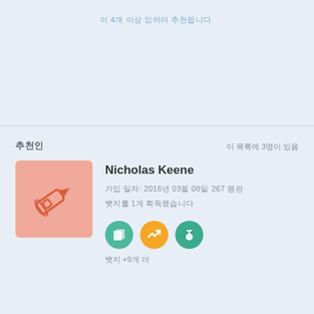이 4개 이상 있어야 추천됩니다.
추천인
이 목록에 3명이 있음
Nicholas Keene
가입 일자: 2016년 03월 08일
267 평판
뱃지를 1개 획득했습니다
뱃지 +9개 더